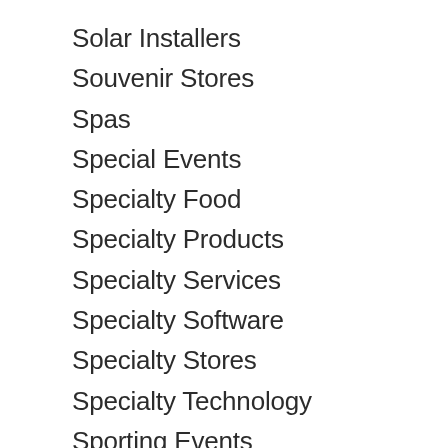Solar Installers
Souvenir Stores
Spas
Special Events
Specialty Food
Specialty Products
Specialty Services
Specialty Software
Specialty Stores
Specialty Technology
Sporting Events
Sporting Goods
Sports and Recreation
Sprinkler Systems
Staffing